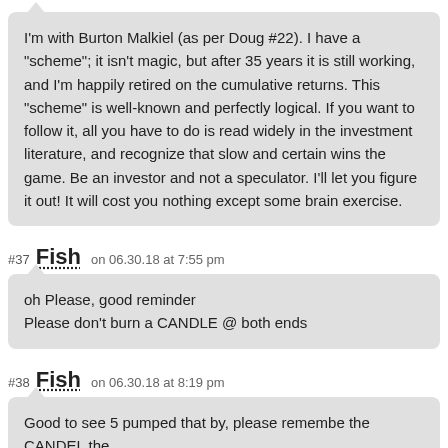I'm with Burton Malkiel (as per Doug #22). I have a "scheme"; it isn't magic, but after 35 years it is still working, and I'm happily retired on the cumulative returns. This "scheme" is well-known and perfectly logical. If you want to follow it, all you have to do is read widely in the investment literature, and recognize that slow and certain wins the game. Be an investor and not a speculator. I'll let you figure it out! It will cost you nothing except some brain exercise.
#37 Fish on 06.30.18 at 7:55 pm
oh Please, good reminder
Please don't burn a CANDLE @ both ends
#38 Fish on 06.30.18 at 8:19 pm
Good to see 5 pumped that by, please remembe the CANDEL the
3 floor on fire at their everyone plus me, else outside waiting for firetruck
#39 conan on 06.30.18 at 8:21 pm